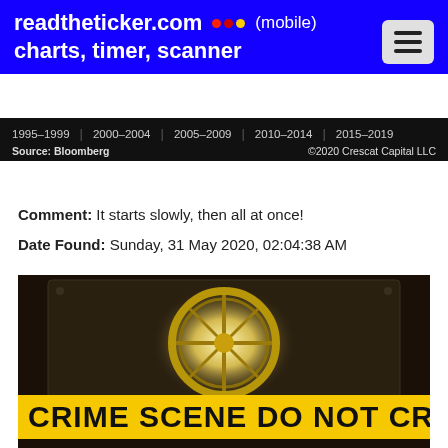readtheticker.com (mobile) charts, timer, scanner
[Figure (other): Black bar showing chart time period axis labels: 1995-1999, 2000-2004, 2005-2009, 2010-2014, 2015-2019. Source: Bloomberg. ©2020 Crescat Capital LLC]
Comment: It starts slowly, then all at once!
Date Found: Sunday, 31 May 2020, 02:04:38 AM
[Figure (photo): Photo of a bank vault door with a glowing light behind it and a yellow CRIME SCENE DO NOT CROSS tape banner across the bottom.]